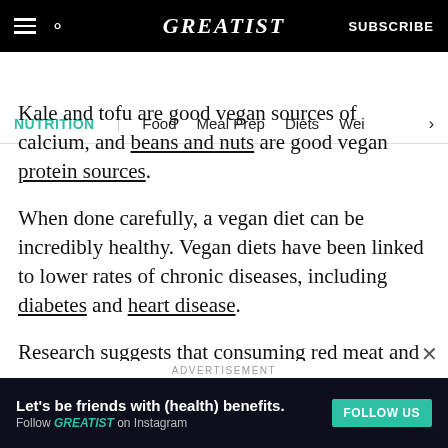GREATIST | SUBSCRIBE
NUTRITION | Food | Meal Prep | Diets | Wei >
Kale and tofu are good vegan sources of calcium, and beans and nuts are good vegan protein sources.
When done carefully, a vegan diet can be incredibly healthy. Vegan diets have been linked to lower rates of chronic diseases, including diabetes and heart disease.
Research suggests that consuming red meat and
[Figure (screenshot): Advertisement banner: Let's be friends with (health) benefits. Follow GREATIST on Instagram. FOLLOW US button.]